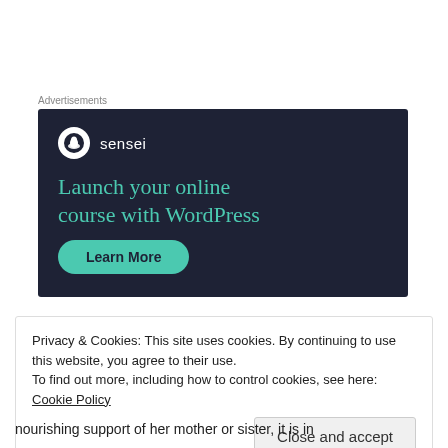Advertisements
[Figure (other): Sensei advertisement banner on dark navy background. Shows Sensei logo (tree icon in white circle), tagline 'Launch your online course with WordPress' in teal, and a 'Learn More' teal button.]
Privacy & Cookies: This site uses cookies. By continuing to use this website, you agree to their use.
To find out more, including how to control cookies, see here: Cookie Policy
Close and accept
nourishing support of her mother or sister, it is in